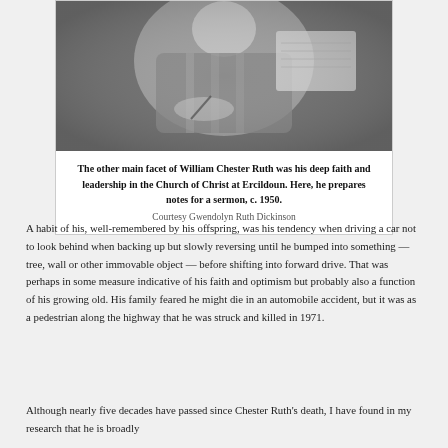[Figure (photo): Black and white photograph of William Chester Ruth sitting and writing notes, with an open book or Bible visible beside him, circa 1950.]
The other main facet of William Chester Ruth was his deep faith and leadership in the Church of Christ at Ercildoun. Here, he prepares notes for a sermon, c. 1950.
Courtesy Gwendolyn Ruth Dickinson
A habit of his, well-remembered by his offspring, was his tendency when driving a car not to look behind when backing up but slowly reversing until he bumped into something — tree, wall or other immovable object — before shifting into forward drive. That was perhaps in some measure indicative of his faith and optimism but probably also a function of his growing old. His family feared he might die in an automobile accident, but it was as a pedestrian along the highway that he was struck and killed in 1971.
Although nearly five decades have passed since Chester Ruth's death, I have found in my research that he is broadly